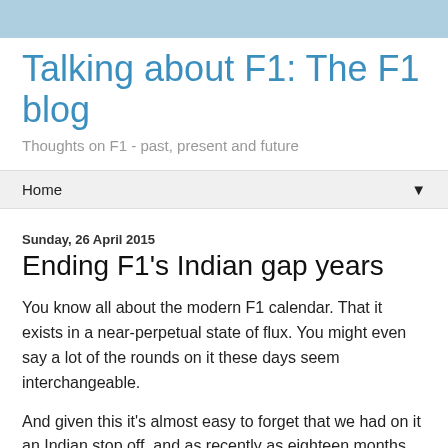Talking about F1: The F1 blog
Thoughts on F1 - past, present and future
Home
Sunday, 26 April 2015
Ending F1's Indian gap years
You know all about the modern F1 calendar. That it exists in a near-perpetual state of flux. You might even say a lot of the rounds on it these days seem interchangeable.
And given this it's almost easy to forget that we had on it an Indian stop off, and as recently as eighteen months ago. But we did, for three years, and while this was far from the universal view by the end of its brief run, I for one regretted